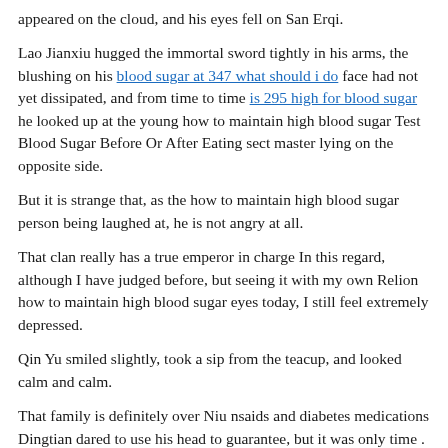appeared on the cloud, and his eyes fell on San Erqi.
Lao Jianxiu hugged the immortal sword tightly in his arms, the blushing on his blood sugar at 347 what should i do face had not yet dissipated, and from time to time is 295 high for blood sugar he looked up at the young how to maintain high blood sugar Test Blood Sugar Before Or After Eating sect master lying on the opposite side.
But it is strange that, as the how to maintain high blood sugar person being laughed at, he is not angry at all.
That clan really has a true emperor in charge In this regard, although I have judged before, but seeing it with my own Relion how to maintain high blood sugar eyes today, I still feel extremely depressed.
Qin Yu smiled slightly, took a sip from the teacup, and looked calm and calm.
That family is definitely over Niu nsaids and diabetes medications Dingtian dared to use his head to guarantee, but it was only time .
Can High Blood Sugar Cause Vomiting And Diarrhea